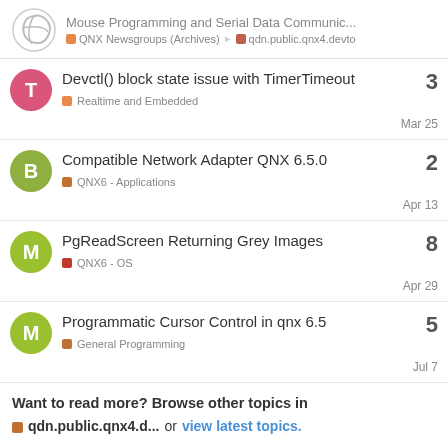Mouse Programming and Serial Data Communic... | QNX Newsgroups (Archives) | qdn.public.qnx4.devto
Devctl() block state issue with TimerTimeout | Realtime and Embedded | Mar 25 | 3 replies
Compatible Network Adapter QNX 6.5.0 | QNX6 - Applications | Apr 13 | 2 replies
PgReadScreen Returning Grey Images | QNX6 - OS | Apr 29 | 8 replies
Programmatic Cursor Control in qnx 6.5 | General Programming | Jul 7 | 5 replies
Want to read more? Browse other topics in qdn.public.qnx4.d... or view latest topics.